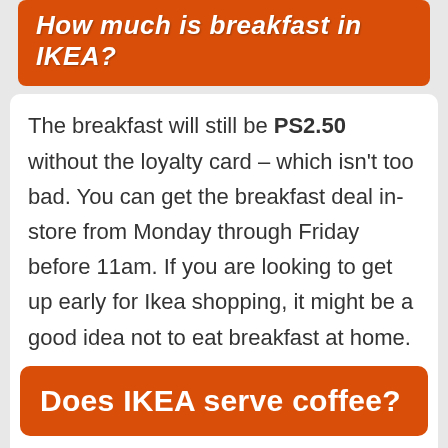How much is breakfast in IKEA?
The breakfast will still be PS2.50 without the loyalty card – which isn't too bad. You can get the breakfast deal in-store from Monday through Friday before 11am. If you are looking to get up early for Ikea shopping, it might be a good idea not to eat breakfast at home.
Does IKEA serve coffee?